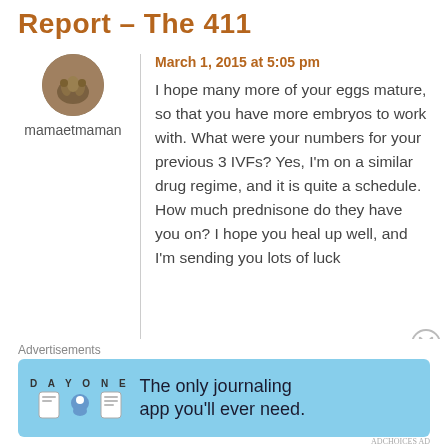Report – The 411
mamaetmaman
March 1, 2015 at 5:05 pm
I hope many more of your eggs mature, so that you have more embryos to work with. What were your numbers for your previous 3 IVFs? Yes, I'm on a similar drug regime, and it is quite a schedule. How much prednisone do they have you on? I hope you heal up well, and I'm sending you lots of luck
Advertisements
[Figure (illustration): Day One journaling app advertisement banner with sky blue background, app icons, and text: 'The only journaling app you'll ever need.']